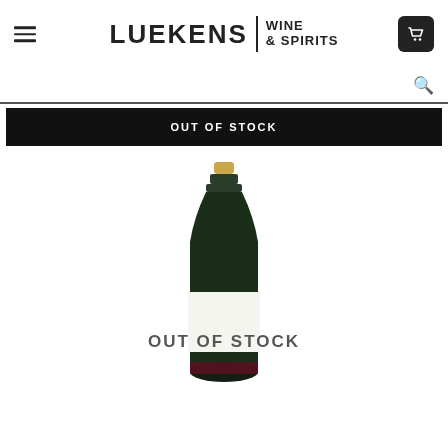[Figure (logo): Luekens Wine & Spirits logo with hamburger menu and cart icon]
[Figure (screenshot): Search bar with search icon]
OUT OF STOCK
[Figure (photo): Dark wine/champagne bottle with white label showing OUT OF STOCK overlay]